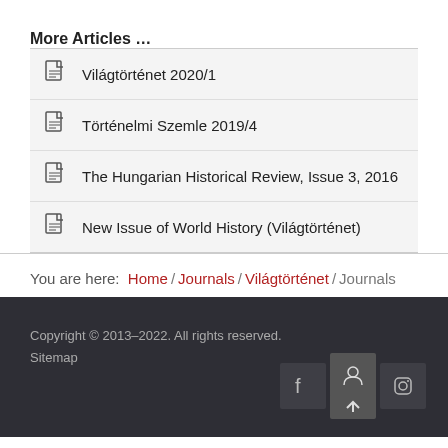More Articles …
Világtörténet 2020/1
Történelmi Szemle 2019/4
The Hungarian Historical Review, Issue 3, 2016
New Issue of World History (Világtörténet)
You are here:  Home / Journals / Világtörténet / Journals
Copyright © 2013–2022. All rights reserved.
Sitemap